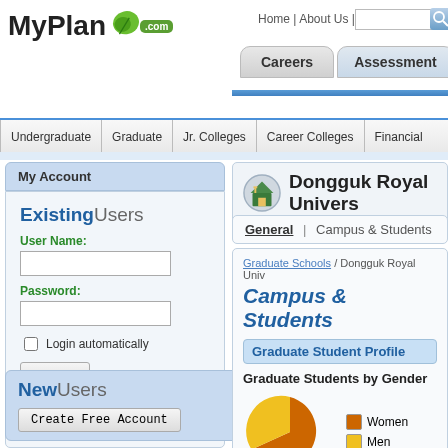[Figure (screenshot): MyPlan.com logo with green leaf and .com badge]
Home | About Us | Search:
Careers  Assessment  Col
Undergraduate | Graduate | Jr. Colleges | Career Colleges | Financial
My Account
ExistingUsers
User Name:
Password:
Login automatically
Login
Forgot your password? Click here
NewUsers
Create Free Account
Dongguk Royal Univers
General | Campus & Students
Graduate Schools / Dongguk Royal Univ
Campus & Students
Graduate Student Profile
Graduate Students by Gender
[Figure (pie-chart): Graduate Students by Gender]